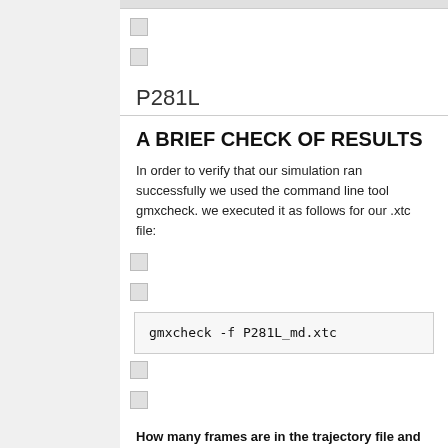P281L
A BRIEF CHECK OF RESULTS
In order to verify that our simulation ran successfully we used the command line tool gmxcheck. we executed it as follows for our .xtc file:
How many frames are in the trajectory file and what is the time resolution?